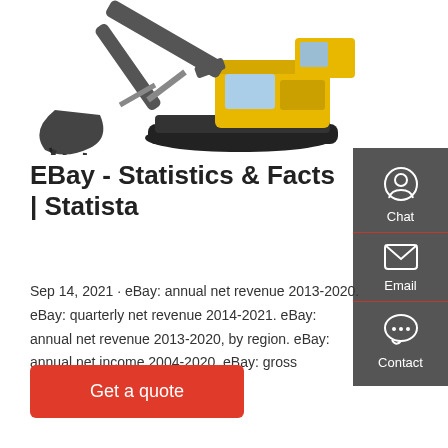[Figure (photo): Excavator/construction machine with bucket arm on white background]
[Figure (infographic): Sidebar panel with Chat, Email, Contact icons on dark grey background]
EBay - Statistics & Facts | Statista
Sep 14, 2021 · eBay: annual net revenue 2013-2020. eBay: quarterly net revenue 2014-2021. eBay: annual net revenue 2013-2020, by region. eBay: annual net income 2004-2020. eBay: gross merchandise volume 2007
Get a quote